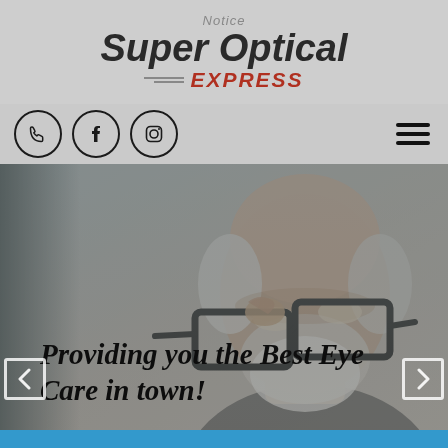Notice
Super Optical EXPRESS
[Figure (screenshot): Navigation bar with phone, Facebook, and Instagram social icons on the left, and a hamburger menu icon on the right]
[Figure (photo): Elderly man with white beard and hair, holding up dark-rimmed glasses to his face, viewed against a neutral background with dark overlay]
Providing you the Best Eye Care in town!